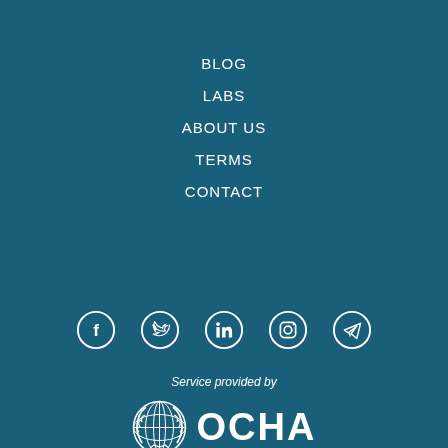BLOG
LABS
ABOUT US
TERMS
CONTACT
[Figure (infographic): Row of five social media icon circles: Facebook, Twitter, LinkedIn, Instagram, Telegram]
Service provided by
[Figure (logo): OCHA logo: UN emblem globe with laurel wreath and the word OCHA in large white letters]
OCHA coordinates the global emergency response to save lives and protect people in humanitarian crises. We advocate for effective and